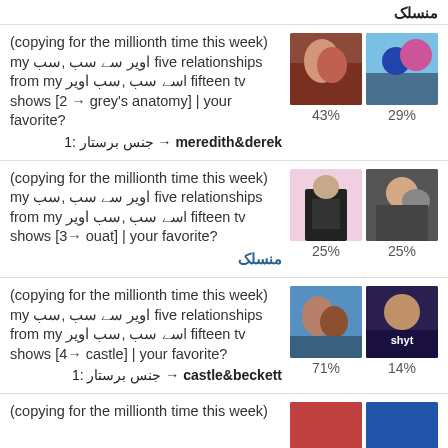منسلک
(copying for the millionth time this week) my اویر سے سب ,سب five relationships from my سے سب ,سب اویرl fifteen tv shows [2→ grey's anatomy] | your favorite?
1 :جنس برستار → meredith&derek
(copying for the millionth time this week) my اویر سے سب ,سب five relationships from my سے سب ,سب اویرl fifteen tv shows [3→ ouat] | your favorite?
منسلک
(copying for the millionth time this week) my اویر سے سب ,سب five relationships from my سے سب ,سب اویرl fifteen tv shows [4→ castle] | your favorite?
1 :جنس برستار → castle&beckett
(copying for the millionth time this week)